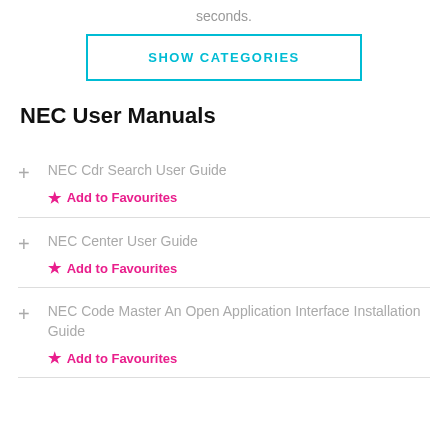seconds.
[Figure (other): Button with cyan border labeled SHOW CATEGORIES]
NEC User Manuals
NEC Cdr Search User Guide
Add to Favourites
NEC Center User Guide
Add to Favourites
NEC Code Master An Open Application Interface Installation Guide
Add to Favourites